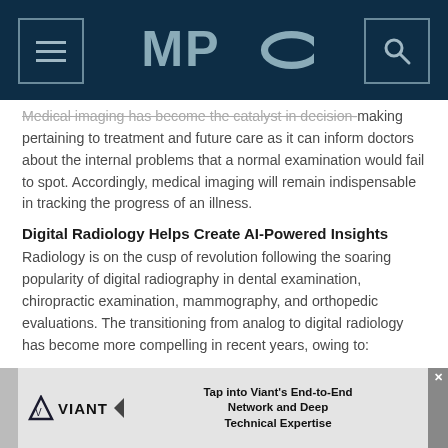MPO
Medical imaging has become the catalyst in decision-making pertaining to treatment and future care as it can inform doctors about the internal problems that a normal examination would fail to spot. Accordingly, medical imaging will remain indispensable in tracking the progress of an illness.
Digital Radiology Helps Create AI-Powered Insights
Radiology is on the cusp of revolution following the soaring popularity of digital radiography in dental examination, chiropractic examination, mammography, and orthopedic evaluations. The transitioning from analog to digital radiology has become more compelling in recent years, owing to:
[Figure (other): Viant advertisement banner: 'Tap into Viant's End-to-End Network and Deep Technical Expertise' with Viant logo]